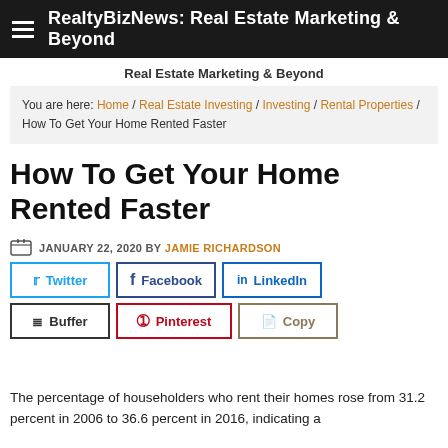RealtyBizNews: Real Estate Marketing & Beyond
Real Estate Marketing & Beyond
You are here: Home / Real Estate Investing / Investing / Rental Properties / How To Get Your Home Rented Faster
How To Get Your Home Rented Faster
JANUARY 22, 2020 BY JAMIE RICHARDSON
[Figure (other): Social sharing buttons: Twitter, Facebook, LinkedIn, Buffer, Pinterest, Copy]
The percentage of householders who rent their homes rose from 31.2 percent in 2006 to 36.6 percent in 2016, indicating a